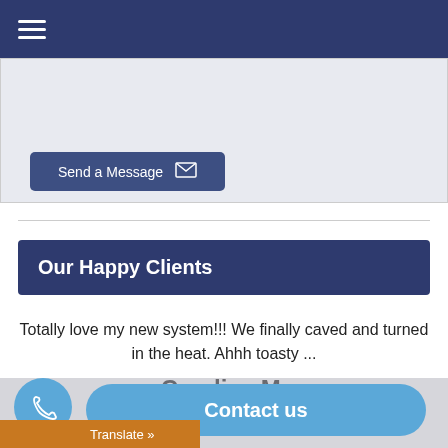☰ (navigation menu)
[Figure (screenshot): Message input text area (blank)]
Send a Message ✉
Our Happy Clients
Totally love my new system!!! We finally caved and turned in the heat. Ahhh toasty ...
Candice M.
Contact us